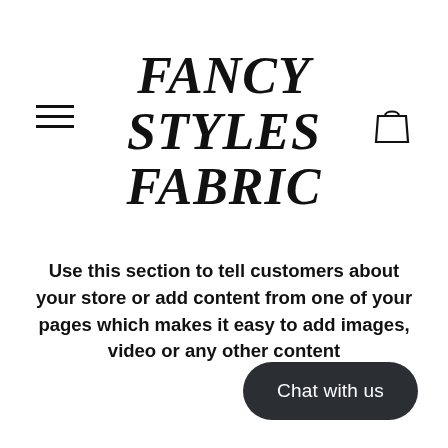[Figure (logo): Hamburger menu icon (three horizontal lines) on the left side of the header]
FANCY STYLES FABRIC
[Figure (illustration): Shopping bag / cart icon on the right side of the header]
Use this section to tell customers about your store or add content from one of your pages which makes it easy to add images, video or any other content
Chat with us